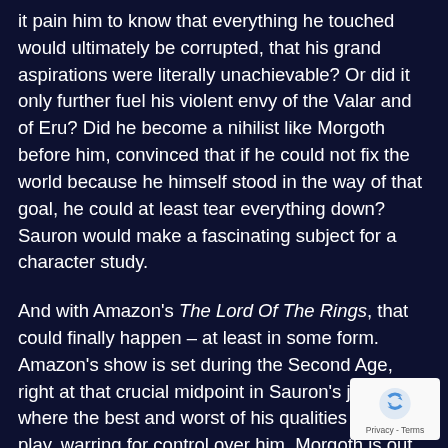it pain him to know that everything he touched would ultimately be corrupted, that his grand aspirations were literally unachievable? Or did it only further fuel his violent envy of the Valar and of Eru? Did he become a nihilist like Morgoth before him, convinced that if he could not fix the world because he himself stood in the way of that goal, he could at least tear everything down? Sauron would make a fascinating subject for a character study.
And with Amazon's The Lord Of The Rings, that could finally happen – at least in some form. Amazon's show is set during the Second Age, right at that crucial midpoint in Sauron's journey where the best and worst of his qualities are in play, warring for control over him. Morgoth is out of the picture, yet still wields power over his lieutenant's heart. Sauron is free to be good, even perhaps desires to be good, but cannot bear the
[Figure (other): reCAPTCHA badge with Privacy - Terms text]